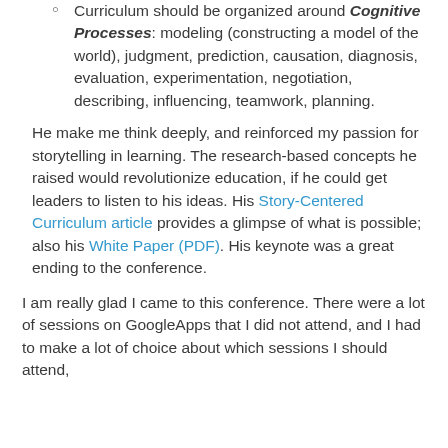Curriculum should be organized around Cognitive Processes: modeling (constructing a model of the world), judgment, prediction, causation, diagnosis, evaluation, experimentation, negotiation, describing, influencing, teamwork, planning.
He make me think deeply, and reinforced my passion for storytelling in learning. The research-based concepts he raised would revolutionize education, if he could get leaders to listen to his ideas. His Story-Centered Curriculum article provides a glimpse of what is possible; also his White Paper (PDF). His keynote was a great ending to the conference.
I am really glad I came to this conference. There were a lot of sessions on GoogleApps that I did not attend, and I had to make a lot of choice about which sessions I should attend,